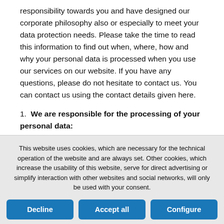responsibility towards you and have designed our corporate philosophy also or especially to meet your data protection needs. Please take the time to read this information to find out when, where, how and why your personal data is processed when you use our services on our website. If you have any questions, please do not hesitate to contact us. You can contact us using the contact details given here.
1.  We are responsible for the processing of your personal data:
This website uses cookies, which are necessary for the technical operation of the website and are always set. Other cookies, which increase the usability of this website, serve for direct advertising or simplify interaction with other websites and social networks, will only be used with your consent.